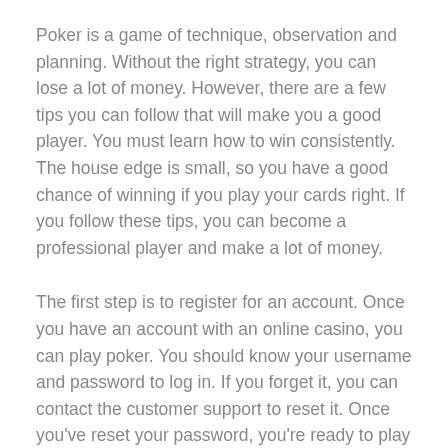Poker is a game of technique, observation and planning. Without the right strategy, you can lose a lot of money. However, there are a few tips you can follow that will make you a good player. You must learn how to win consistently. The house edge is small, so you have a good chance of winning if you play your cards right. If you follow these tips, you can become a professional player and make a lot of money.
The first step is to register for an account. Once you have an account with an online casino, you can play poker. You should know your username and password to log in. If you forget it, you can contact the customer support to reset it. Once you've reset your password, you're ready to play poker. The poker site will then give you a link to download the game for free. The next step is to play a few games.
If you've never played poker before, you can still become an